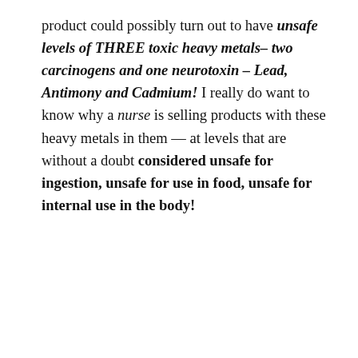product could possibly turn out to have unsafe levels of THREE toxic heavy metals– two carcinogens and one neurotoxin – Lead, Antimony and Cadmium! I really do want to know why a nurse is selling products with these heavy metals in them — at levels that are without a doubt considered unsafe for ingestion, unsafe for use in food, unsafe for internal use in the body!